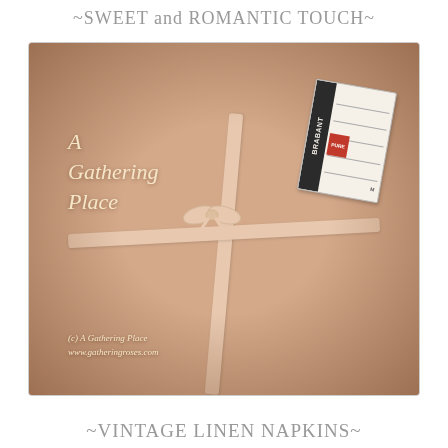~SWEET and ROMANTIC TOUCH~
[Figure (photo): Vintage folded linen napkins tied with a satin ribbon bow, with a Brabant fabric label tag. Text overlay reads 'A Gathering Place' and '(c) A Gathering Place www.gatheringroses.com']
~VINTAGE LINEN NAPKINS~